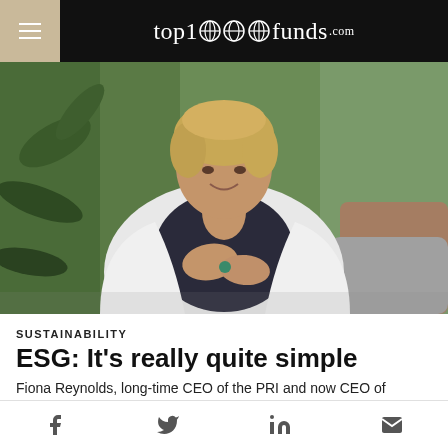top1000funds.com
[Figure (photo): Portrait photograph of a woman with short blonde hair wearing a white blazer over a dark top, seated in a chair, smiling, with green plants in the background.]
SUSTAINABILITY
ESG: It's really quite simple
Fiona Reynolds, long-time CEO of the PRI and now CEO of publishing firm Conexus Financial, responds to the rising
Social share icons: Facebook, Twitter, LinkedIn, Email